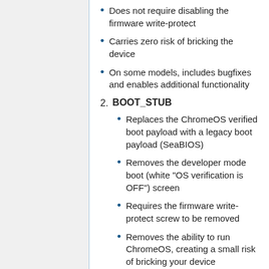Does not require disabling the firmware write-protect
Carries zero risk of bricking the device
On some models, includes bugfixes and enables additional functionality
2. BOOT_STUB
Replaces the ChromeOS verified boot payload with a legacy boot payload (SeaBIOS)
Removes the developer mode boot (white "OS verification is OFF") screen
Requires the firmware write-protect screw to be removed
Removes the ability to run ChromeOS, creating a small risk of bricking your device